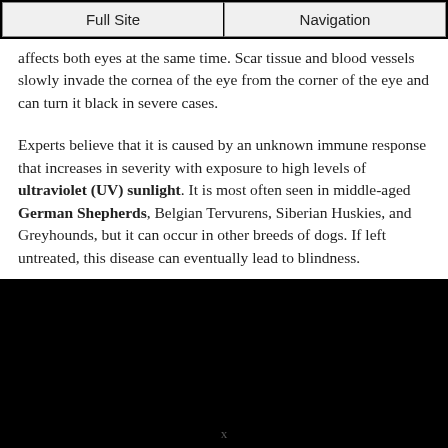Full Site | Navigation
affects both eyes at the same time. Scar tissue and blood vessels slowly invade the cornea of the eye from the corner of the eye and can turn it black in severe cases.
Experts believe that it is caused by an unknown immune response that increases in severity with exposure to high levels of ultraviolet (UV) sunlight. It is most often seen in middle-aged German Shepherds, Belgian Tervurens, Siberian Huskies, and Greyhounds, but it can occur in other breeds of dogs. If left untreated, this disease can eventually lead to blindness.
x